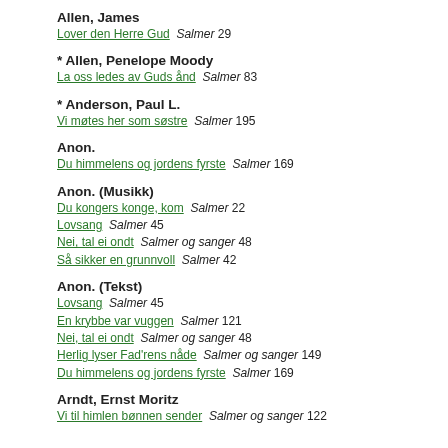Allen, James
Lover den Herre Gud  Salmer 29
* Allen, Penelope Moody
La oss ledes av Guds ånd  Salmer 83
* Anderson, Paul L.
Vi møtes her som søstre  Salmer 195
Anon.
Du himmelens og jordens fyrste  Salmer 169
Anon. (Musikk)
Du kongers konge, kom  Salmer 22
Lovsang  Salmer 45
Nei, tal ei ondt  Salmer og sanger 48
Så sikker en grunnvoll  Salmer 42
Anon. (Tekst)
Lovsang  Salmer 45
En krybbe var vuggen  Salmer 121
Nei, tal ei ondt  Salmer og sanger 48
Herlig lyser Fad'rens nåde  Salmer og sanger 149
Du himmelens og jordens fyrste  Salmer 169
Arndt, Ernst Moritz
Vi til himlen bønnen sender  Salmer og sanger 122